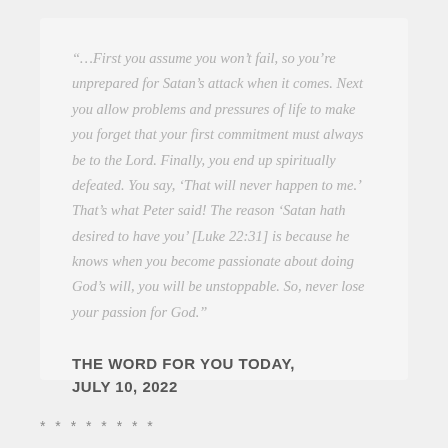“…First you assume you won’t fail, so you’re unprepared for Satan’s attack when it comes. Next you allow problems and pressures of life to make you forget that your first commitment must always be to the Lord. Finally, you end up spiritually defeated. You say, ‘That will never happen to me.’ That’s what Peter said! The reason ‘Satan hath desired to have you’ [Luke 22:31] is because he knows when you become passionate about doing God’s will, you will be unstoppable. So, never lose your passion for God.”
THE WORD FOR YOU TODAY, JULY 10, 2022
* * * * * * * *